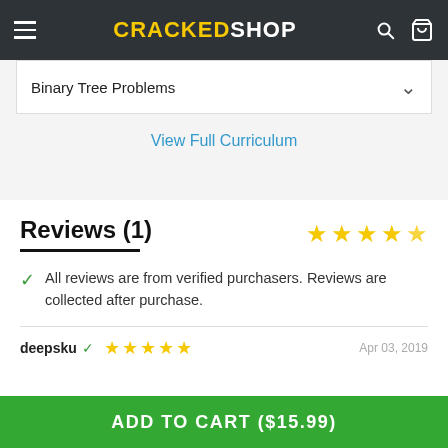CRACKEDSHOP
Binary Tree Problems
View Full Curriculum
Reviews (1)
All reviews are from verified purchasers. Reviews are collected after purchase.
deepsku ✓  ★★★★★  Apr 03, 2019
ADD TO CART ($15.99)